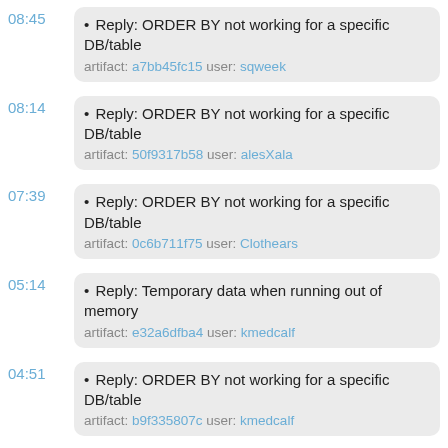08:45 • Reply: ORDER BY not working for a specific DB/table artifact: a7bb45fc15 user: sqweek
08:14 • Reply: ORDER BY not working for a specific DB/table artifact: 50f9317b58 user: alesXala
07:39 • Reply: ORDER BY not working for a specific DB/table artifact: 0c6b711f75 user: Clothears
05:14 • Reply: Temporary data when running out of memory artifact: e32a6dfba4 user: kmedcalf
04:51 • Reply: ORDER BY not working for a specific DB/table artifact: b9f335807c user: kmedcalf
04:32 • Reply: ORDER BY not working for a specific DB/table artifact: e023e710be user: kmedcalf
04:01 • Reply: Wiki artifact: 9e1f1febb6 user: stephan
03:44 • Post: Temporary data when running out of memory artifact: 225e704d9f user: anonymous